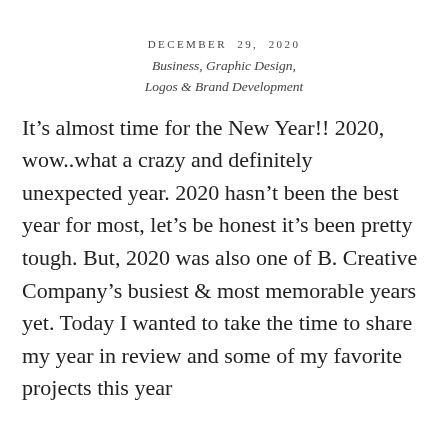DECEMBER 29, 2020
Business, Graphic Design, Logos & Brand Development
It’s almost time for the New Year!! 2020, wow..what a crazy and definitely unexpected year. 2020 hasn’t been the best year for most, let’s be honest it’s been pretty tough. But, 2020 was also one of B. Creative Company’s busiest & most memorable years yet. Today I wanted to take the time to share my year in review and some of my favorite projects this year [continues]